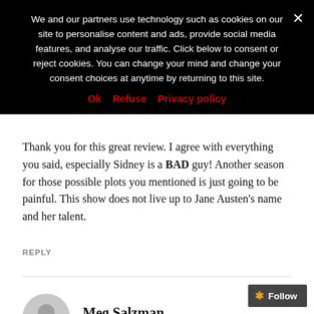We and our partners use technology such as cookies on our site to personalise content and ads, provide social media features, and analyse our traffic. Click below to consent or reject cookies. You can change your mind and change your consent choices at anytime by returning to this site.
Ok   Refuse   Privacy policy
Thank you for this great review. I agree with everything you said, especially Sidney is a BAD guy! Another season for those possible plots you mentioned is just going to be painful. This show does not live up to Jane Austen's name and her talent.
REPLY
Meg Salzman
FEBRUARY 18, 2020 AT 5:16 PM
Follow